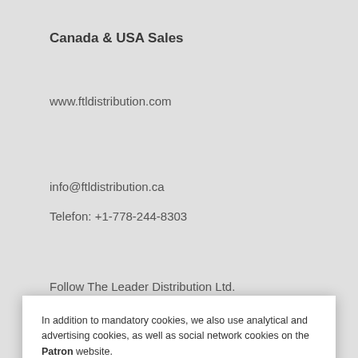Canada & USA Sales
www.ftldistribution.com
info@ftldistribution.ca
Telefon: +1-778-244-8303
Follow The Leader Distribution Ltd.
In addition to mandatory cookies, we also use analytical and advertising cookies, as well as social network cookies on the Patron website.
If you agree with this, please click on the I ACCEPT button. For a detailed description and in order to set the use of individual cookies, click on the COOKIE SETTINGS link.
I ACCEPT
Cookie Settings